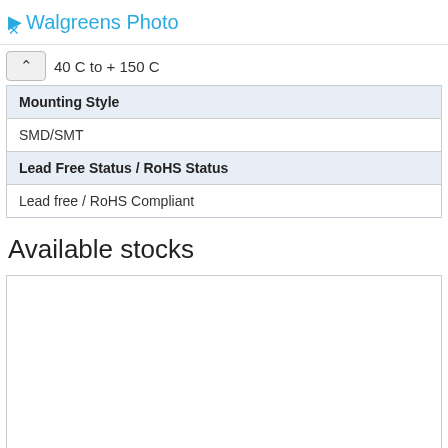Walgreens Photo
40 C to + 150 C
| Mounting Style |
| SMD/SMT |
| Lead Free Status / RoHS Status |
| Lead free / RoHS Compliant |
Available stocks